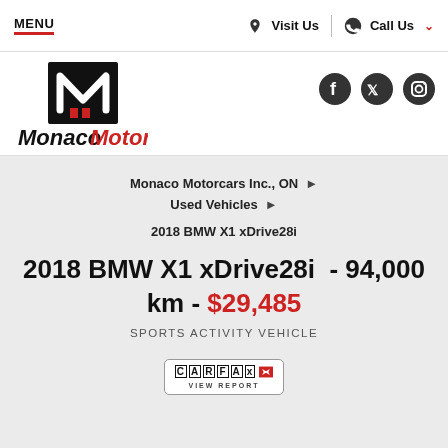MENU | Visit Us | Call Us
[Figure (logo): Monaco Motorcars logo with stylized M in black square and red accent marks, with italic bold text 'Monaco Motorcars' below]
[Figure (illustration): Social media icons: Facebook, Twitter, Instagram]
Monaco Motorcars Inc., ON ▶
Used Vehicles ▶
2018 BMW X1 xDrive28i
2018 BMW X1 xDrive28i  - 94,000 km - $29,485
SPORTS ACTIVITY VEHICLE
[Figure (logo): Carfax Canada logo badge with VIEW REPORT text below]